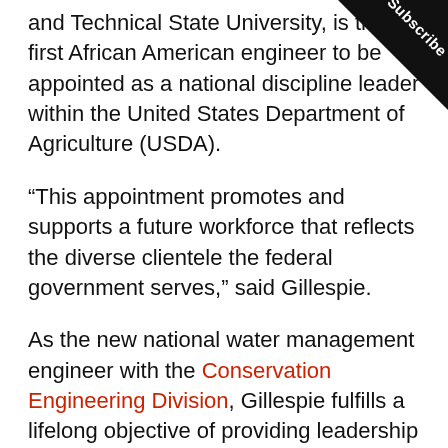and Technical State University, is the first African American engineer to be appointed as a national discipline leader within the United States Department of Agriculture (USDA).
“This appointment promotes and supports a future workforce that reflects the diverse clientele the federal government serves,” said Gillespie.
As the new national water management engineer with the Conservation Engineering Division, Gillespie fulfills a lifelong objective of providing leadership in policy development and technical guidance in engineering solutions.
“This opportunity expands the collective technical expertise of the USDA to include the legacy of academic and research excellence at N.C. A&T,” said Gillespie. “I am who I am, and where I am, because of the investment the